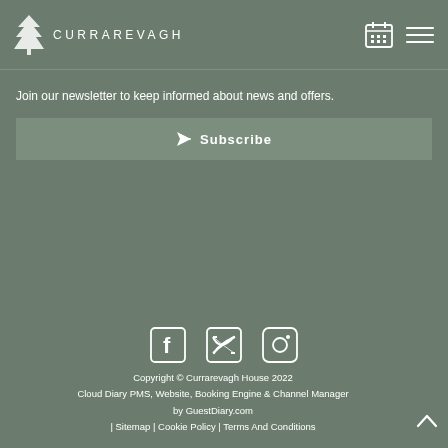CURRAREVAGH
Join our newsletter to keep informed about news and offers.
Subscribe
[Figure (logo): Facebook, Twitter, Instagram social media icons]
Copyright © Currarevagh House 2022 Cloud Diary PMS, Website, Booking Engine & Channel Manager by GuestDiary.com | Sitemap | Cookie Policy | Terms And Conditions